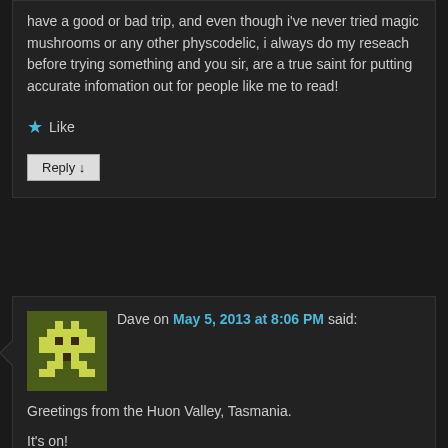have a good or bad trip, and even though i've never tried magic mushrooms or any other physcodelic, i always do my reseach before trying something and you sir, are a true saint for putting accurate infomation out for people like me to read!
★ Like
Reply ↓
[Figure (illustration): Pixel art avatar icon showing a space invader style character in yellow-green on olive green background]
Dave on May 5, 2013 at 8:06 PM said:
Greetings from the Huon Valley, Tasmania.
It's on!
This week the subs arrived…in case anyone was